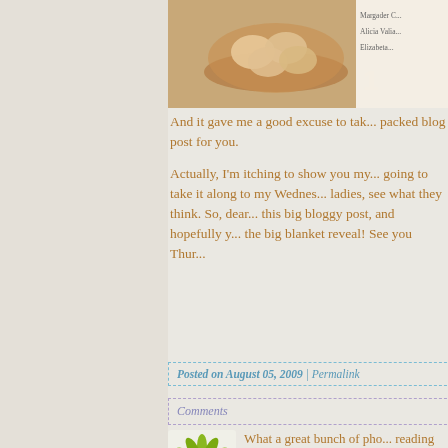[Figure (photo): Photo of eggs in a bowl, partially cropped, with a handwritten or printed list overlay on the right side showing names: Margader (?), Alicia Valia (?), Elizabeta (?)]
And it gave me a good excuse to tak... packed blog post for you.
Actually, I'm itching to show you my... going to take it along to my Wednes... ladies, see what they think. So, dear... this big bloggy post, and hopefully y... the big blanket reveal! See you Thur...
Posted on August 05, 2009 | Permalink
Comments
[Figure (logo): Green flower/sunburst logo icon for user Lululiz]
What a great bunch of pho... reading this post.
Posted by: Lululiz | August 05,...